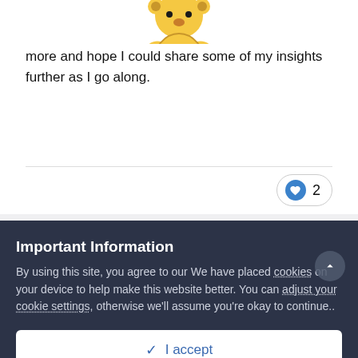[Figure (illustration): Partial view of a cartoon bear emoji (Winnie-the-Pooh style) at top center, cut off at top of page]
more and hope I could share some of my insights further as I go along.
[Figure (other): Like button with heart icon and count of 2]
[Figure (photo): User avatar for the_sweetroad showing a circular photo with a pink/purple flower and a brown fence/railing]
the_sweetroad
Posted November 14, 2021
Important Information
By using this site, you agree to our We have placed cookies on your device to help make this website better. You can adjust your cookie settings, otherwise we'll assume you're okay to continue..
✓  I accept